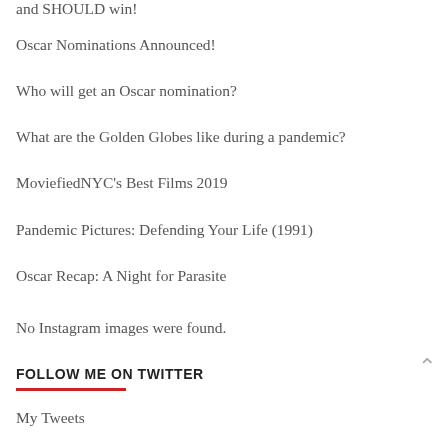and SHOULD win!
Oscar Nominations Announced!
Who will get an Oscar nomination?
What are the Golden Globes like during a pandemic?
MoviefiedNYC's Best Films 2019
Pandemic Pictures: Defending Your Life (1991)
Oscar Recap: A Night for Parasite
No Instagram images were found.
FOLLOW ME ON TWITTER
My Tweets